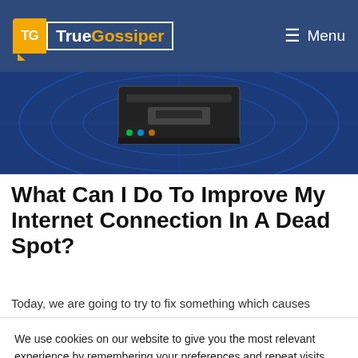TrueGossiper — Menu
[Figure (photo): Screenshot of a network device or router against a blue digital background]
What Can I Do To Improve My Internet Connection In A Dead Spot?
Today, we are going to try to fix something which causes
We use cookies on our website to give you the most relevant experience by remembering your preferences and repeat visits. By clicking “Accept All”, you consent to the use of ALL the cookies. However, you may visit "Cookie Settings" to provide a controlled consent.